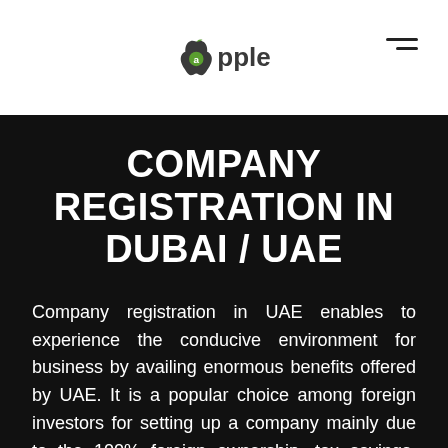apple
COMPANY REGISTRATION IN DUBAI / UAE
Company registration in UAE enables to experience the conducive environment for business by availing enormous benefits offered by UAE. It is a popular choice among foreign investors for setting up a company mainly due to the 100% foreign ownership, tax savings, ease of doing business, up-scaled business infrastructure, e-governance